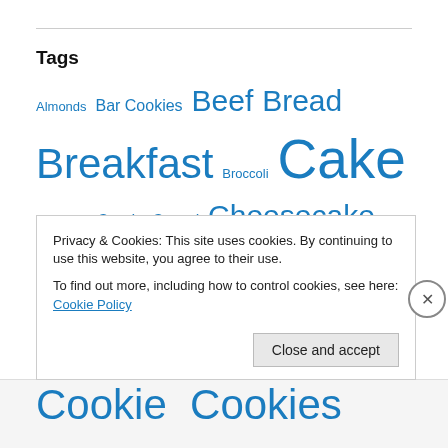Tags
Almonds Bar Cookies Beef Bread Breakfast Broccoli Cake Calamari Candy Cereal Cheesecake Chicken Chinese Chocolate Chocolate Chip Chocolate Chip Cookies Cinnamon Clams Cookie Cookies Dessert
Privacy & Cookies: This site uses cookies. By continuing to use this website, you agree to their use.
To find out more, including how to control cookies, see here: Cookie Policy
Close and accept